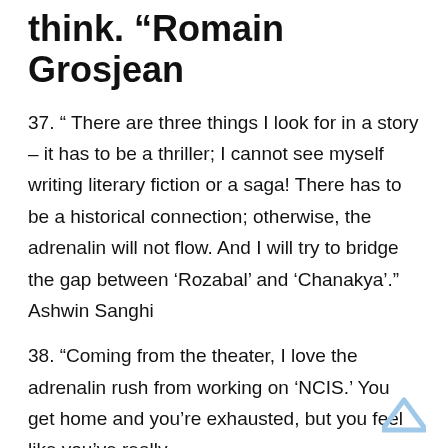think. “Romain Grosjean
37. “ There are three things I look for in a story – it has to be a thriller; I cannot see myself writing literary fiction or a saga! There has to be a historical connection; otherwise, the adrenalin will not flow. And I will try to bridge the gap between ‘Rozabal’ and ‘Chanakya’.” Ashwin Sanghi
38. “Coming from the theater, I love the adrenalin rush from working on ‘NCIS.’ You get home and you’re exhausted, but you feel like you’ve really